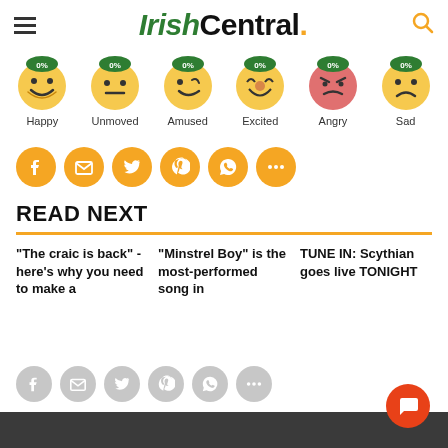IrishCentral.
[Figure (infographic): Six emoji reaction buttons each showing 0%: Happy, Unmoved, Amused, Excited, Angry, Sad]
[Figure (infographic): Social share buttons row: Facebook, Email, Twitter, Pinterest, WhatsApp, More]
READ NEXT
"The craic is back" - here's why you need to make a
"Minstrel Boy" is the most-performed song in
TUNE IN: Scythian goes live TONIGHT